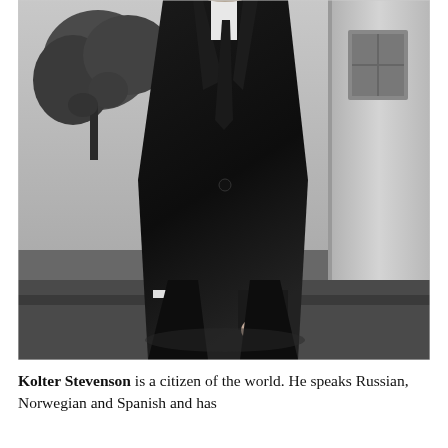[Figure (photo): Black and white photograph of a young man in a dark overcoat and tie, standing outdoors near a stone column with trees in the background.]
Kolter Stevenson is a citizen of the world. He speaks Russian, Norwegian and Spanish and has